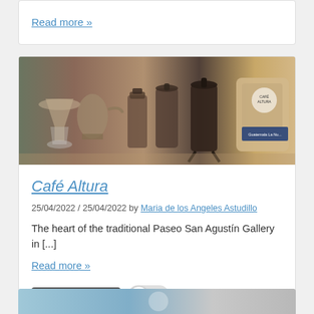Read more »
[Figure (photo): Coffee shop scene showing various coffee brewing equipment including pour-over devices, French press, kettles, and a bag of Café Altura Guatemala coffee beans on a wooden surface]
Café Altura
25/04/2022 / 25/04/2022 by Maria de los Angeles Astudillo
The heart of the traditional Paseo San Agustín Gallery in [...]
Read more »
Cafes and teashops
[Figure (photo): Partial view of another article image at the bottom of the page, showing what appears to be an outdoor or street scene]